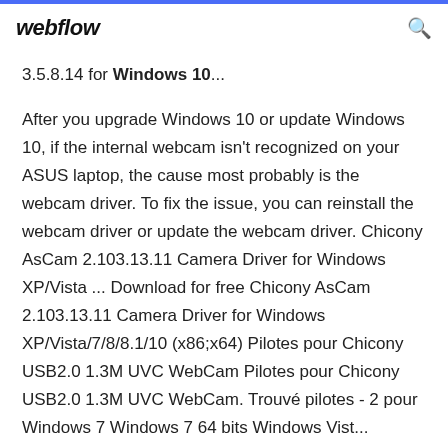webflow
3.5.8.14 for Windows 10...
After you upgrade Windows 10 or update Windows 10, if the internal webcam isn't recognized on your ASUS laptop, the cause most probably is the webcam driver. To fix the issue, you can reinstall the webcam driver or update the webcam driver. Chicony AsCam 2.103.13.11 Camera Driver for Windows XP/Vista ... Download for free Chicony AsCam 2.103.13.11 Camera Driver for Windows XP/Vista/7/8/8.1/10 (x86;x64) Pilotes pour Chicony USB2.0 1.3M UVC WebCam Pilotes pour Chicony USB2.0 1.3M UVC WebCam. Trouvé pilotes - 2 pour Windows 7 Windows 7 64 bits Windows Vista...